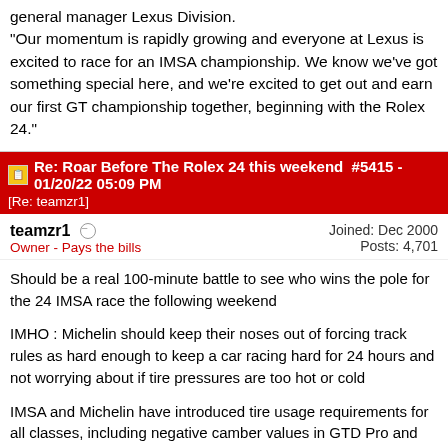general manager Lexus Division.
"Our momentum is rapidly growing and everyone at Lexus is excited to race for an IMSA championship. We know we've got something special here, and we're excited to get out and earn our first GT championship together, beginning with the Rolex 24."
Re: Roar Before The Rolex 24 this weekend #5415 - 01/20/22 05:09 PM [Re: teamzr1]
teamzr1 | Joined: Dec 2000 | Owner - Pays the bills | Posts: 4,701
Should be a real 100-minute battle to see who wins the pole for the 24 IMSA race the following weekend
IMHO : Michelin should keep their noses out of forcing track rules as hard enough to keep a car racing hard for 24 hours and not worrying about if tire pressures are too hot or cold
IMSA and Michelin have introduced tire usage requirements for all classes, including negative camber values in GTD Pro and GTD.
The new operational requirements, which outline minimum cold